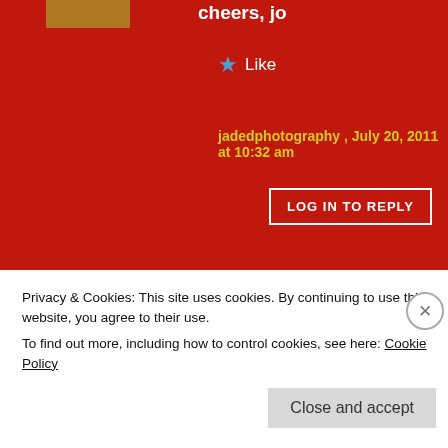cheers, jo
★ Like
jadedphotography , July 20, 2011 at 10:32 am
LOG IN TO REPLY
[Figure (illustration): Small cartoon avatar of a heart character with wings]
Nice to be visiting your blog once more, it has been months on behalf of me. Well this text that I've been waited for therefore long. i need this text to finish my assignment in the school, and it's same topic together with your article. Thanks, nice share.
Privacy & Cookies: This site uses cookies. By continuing to use this website, you agree to their use.
To find out more, including how to control cookies, see here: Cookie Policy
Close and accept